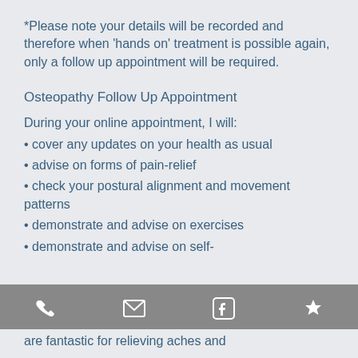*Please note your details will be recorded and therefore when 'hands on' treatment is possible again, only a follow up appointment will be required.
Osteopathy Follow Up Appointment
During your online appointment, I will:
• cover any updates on your health as usual
• advise on forms of pain-relief
• check your postural alignment and movement patterns
• demonstrate and advise on exercises
• demonstrate and advise on self-
are fantastic for relieving aches and